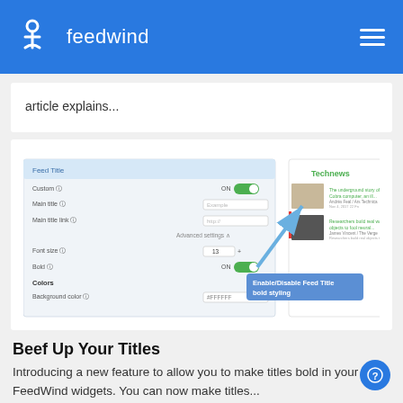feedwind
article explains...
[Figure (screenshot): FeedWind widget settings UI showing Feed Title options with Custom toggle ON, Main title, Main title link fields, Advanced settings, Font size, Bold toggle ON with tooltip 'Enable/Disable Feed Title bold styling', and Colors section with Background color field. A blue arrow points from the settings to a preview of a Technews feed widget showing article cards.]
Beef Up Your Titles
Introducing a new feature to allow you to make titles bold in your FeedWind widgets. You can now make titles...